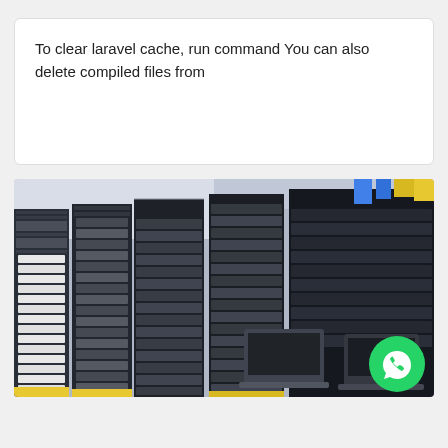To clear laravel cache, run command You can also delete compiled files from
[Figure (photo): Data center server racks with multiple rack-mounted servers and cable management, yellow and blue cables visible at top right, with a WhatsApp icon button in the bottom right corner.]